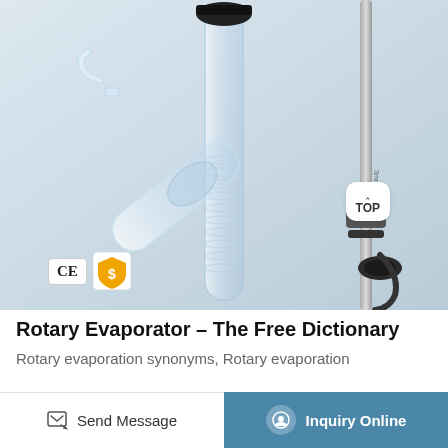[Figure (photo): Close-up photograph of a rotary evaporator glass assembly showing the condenser coil, glass flask, and metallic stand components against a light blue-grey background. CE and gold shield certification badges visible in bottom-left corner. A 'TOP' navigation badge visible in the lower-right area of the image.]
Rotary Evaporator – The Free Dictionary
Rotary evaporation synonyms, Rotary evaporation
Send Message
Inquiry Online